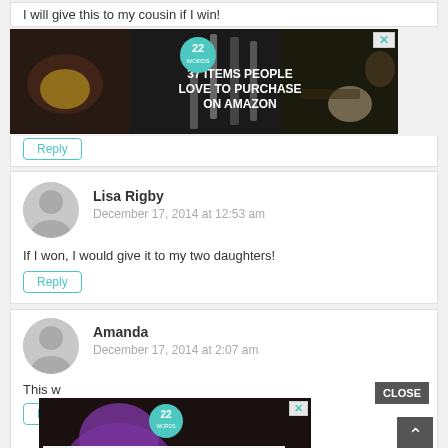I will give this to my cousin if I win!
[Figure (screenshot): Advertisement banner: '37 ITEMS PEOPLE LOVE TO PURCHASE ON AMAZON' with badge '22' and an X close button, dark background with kitchen items]
Reply
Lisa Rigby
December 17, 2014 at 12:53 am
If I won, I would give it to my two daughters!
Reply
Amanda
December 17, 2014 at 2:07 am
This w
Reply
[Figure (screenshot): Advertisement overlay: '37 GENIUS AMAZON PRODUCTS THAT CAN BE USED BY ANYONE' with badge '22', purple headphones background, CLOSE button and X]
CLOSE